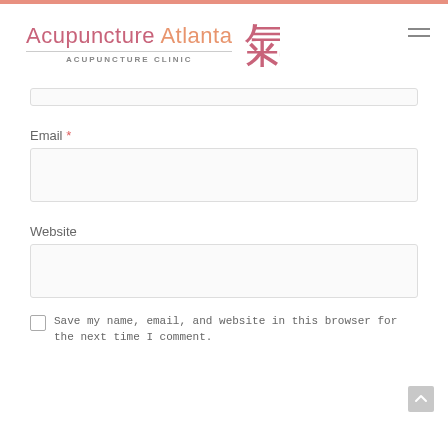[Figure (logo): Acupuncture Atlanta Acupuncture Clinic logo with Chinese character]
Email *
Website
Save my name, email, and website in this browser for the next time I comment.